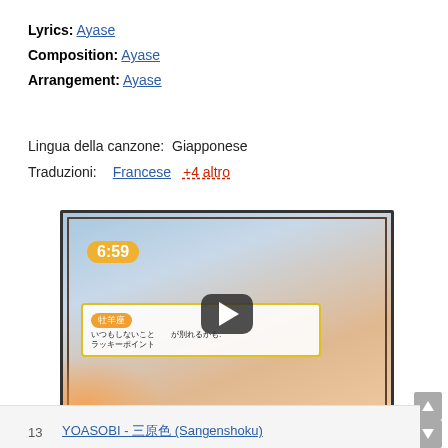Lyrics: Ayase
Composition: Ayase
Arrangement: Ayase
Lingua della canzone:  Giapponese
Traduzioni:  Francese  +4 altro
[Figure (screenshot): A YouTube video thumbnail showing a TV screen with Japanese subtitles and a timestamp of 6:59, with a play button overlay.]
13  YOASOBI - 三原色 (Sangenshoku)